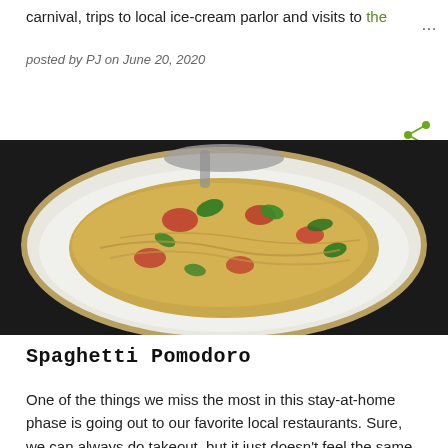carnival, trips to local ice-cream parlor and visits to the
posted by PJ on June 20, 2020
[Figure (photo): A plate of spaghetti pomodoro with tomatoes, green herbs, and pasta on a white plate with gold rim, on a dark background.]
Spaghetti Pomodoro
One of the things we miss the most in this stay-at-home phase is going out to our favorite local restaurants. Sure, we can always do takeout, but it just doesn't feel the same without the